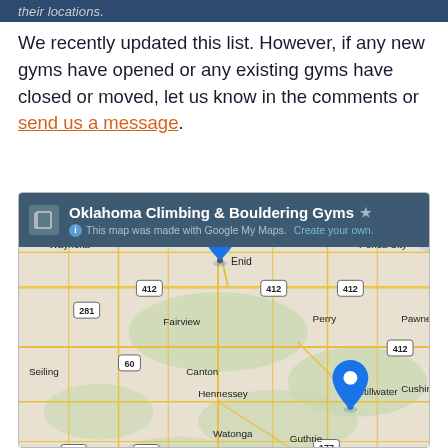their locations.
We recently updated this list. However, if any new gyms have opened or any existing gyms have closed or moved, let us know in the comments or send us a message.
[Figure (map): Google My Maps embed showing Oklahoma Climbing & Bouldering Gyms with blue pin markers near Enid and Stillwater, Oklahoma. Map shows cities including Waynoka, Fairview, Seiling, Canton, Watonga, Hennessey, Perry, Stillwater, Guthrie, Pawnee, Cushing, and Oklahoma City (Edmond) area. Roads include highways 64, 412, 281, 60, 183, 270, 177. The map header reads 'Oklahoma Climbing & Bouldering Gyms' with 'This map was made with Google My Maps. Create your own.']